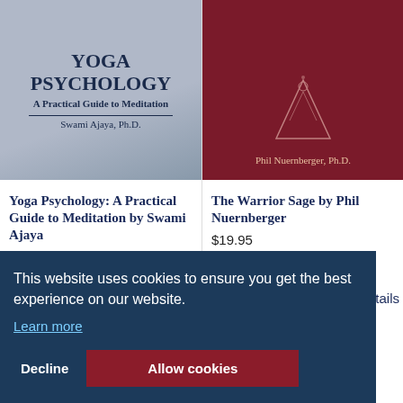[Figure (photo): Book cover: Yoga Psychology: A Practical Guide to Meditation by Swami Ajaya, Ph.D. Blue/grey background with text.]
Yoga Psychology: A Practical Guide to Meditation by Swami Ajaya
[Figure (photo): Book cover: The Warrior Sage by Phil Nuernberger, Ph.D. Dark red/maroon cover with triangle figure and text.]
The Warrior Sage by Phil Nuernberger
$19.95
etails
This website uses cookies to ensure you get the best experience on our website. Learn more
Decline
Allow cookies